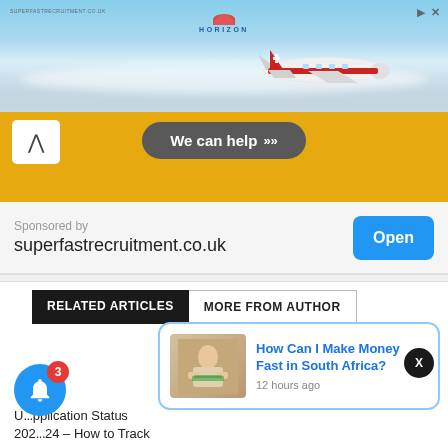[Figure (photo): Advertisement banner showing an airplane flying above clouds with Horizon logo]
[Figure (screenshot): Yellow bar with 'We can help >>' button and chevron up icon]
Sponsored by
superfastrecruitment.co.uk
Open
RELATED ARTICLES   MORE FROM AUTHOR
How Can I Make Money Fast in South Africa?
12 hours ago
U... pplication Status 202... 24 – How to Track